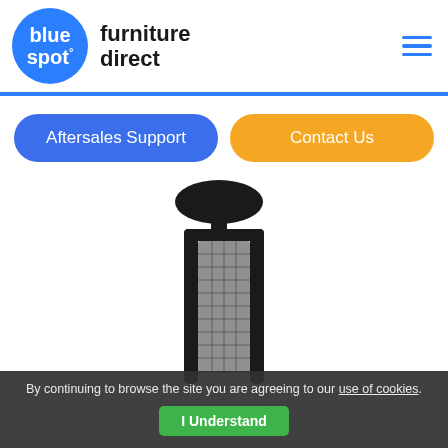[Figure (logo): Blue Spot Furniture Direct logo: blue circle with 'blue spot' text and 'furniture direct' brand name, plus hamburger menu icon]
[Figure (other): Two navigation buttons: 'Aftersales Support' in blue and 'Contact Us' in orange]
[Figure (photo): Office chair back with mesh and headrest, showing upper portion of a black ergonomic chair]
By continuing to browse the site you are agreeing to our use of cookies.
I Understand